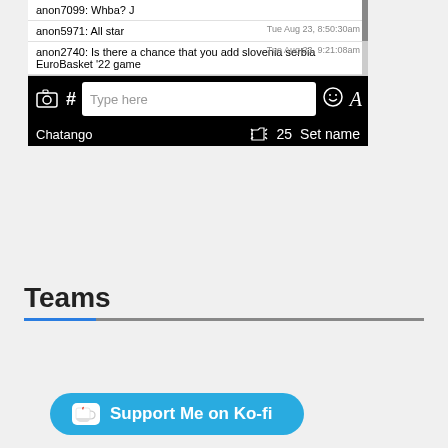[Figure (screenshot): Chatango chat widget showing messages from anon7099, anon5971, and anon2740, with input bar and controls]
[Figure (screenshot): Ko-fi support button in blue with heart/coffee cup icon and text 'Support Me on Ko-fi']
Teams
[Figure (screenshot): Black video player area with white play button triangle in center]